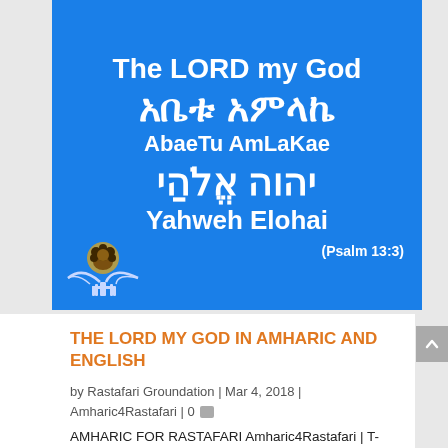[Figure (illustration): Blue banner image showing 'The LORD my God' in English, Amharic script (አቤቱ አምላኬ), romanized Amharic (AbaeTu AmLaKae), Hebrew script (יהוה אֱלֹהַי), and 'Yahweh Elohai' in English, with a small Rastafari logo in the bottom-left corner and '(Psalm 13:3)' in the bottom-right corner.]
THE LORD MY GOD IN AMHARIC AND ENGLISH
by Rastafari Groundation | Mar 4, 2018 | Amharic4Rastafari | 0
AMHARIC FOR RASTAFARI Amharic4Rastafari | T-Shirts Amharic4Rastafari | Classic Mug